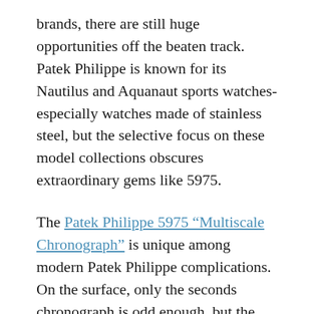brands, there are still huge opportunities off the beaten track. Patek Philippe is known for its Nautilus and Aquanaut sports watches-especially watches made of stainless steel, but the selective focus on these model collections obscures extraordinary gems like 5975.
The Patek Philippe 5975 “Multiscale Chronograph” is unique among modern Patek Philippe complications. On the surface, only the seconds chronograph is odd enough, but the dateless dial with triple measurement scale provides novel propositions that Nautilus does not have. When Patek launched the 575, it broke the norm. This alternative 40mm instrument is Patek Philippe’s most unique